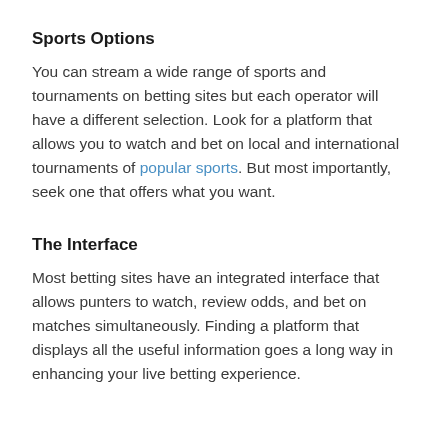Sports Options
You can stream a wide range of sports and tournaments on betting sites but each operator will have a different selection. Look for a platform that allows you to watch and bet on local and international tournaments of popular sports. But most importantly, seek one that offers what you want.
The Interface
Most betting sites have an integrated interface that allows punters to watch, review odds, and bet on matches simultaneously. Finding a platform that displays all the useful information goes a long way in enhancing your live betting experience.